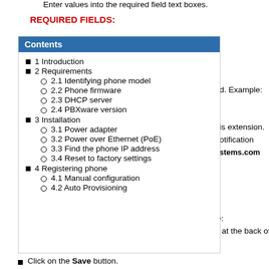Enter values into the required field text boxes.
REQUIRED FIELDS:
Contents (table of contents overlay with: 1 Introduction, 2 Requirements, 2.1 Identifying phone model, 2.2 Phone firmware, 2.3 DHCP server, 2.4 PBXware version, 3 Installation, 3.1 Power adapter, 3.2 Power over Ethernet (PoE), 3.3 Find the phone IP address, 3.4 Reset to factory settings, 4 Registering phone, 4.1 Manual configuration, 4.2 Auto Provisioning)
ed. Example:
his extension.
notification
vstems.com
le:
d at the back of
Click on the Save button.